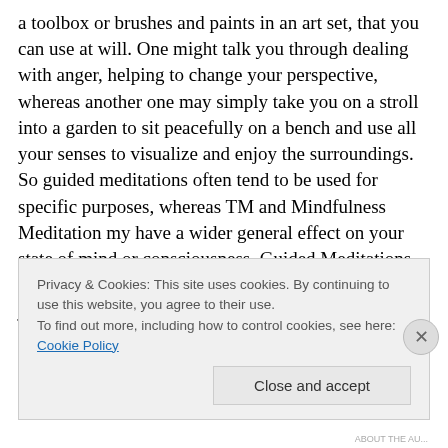a toolbox or brushes and paints in an art set, that you can use at will. One might talk you through dealing with anger, helping to change your perspective, whereas another one may simply take you on a stroll into a garden to sit peacefully on a bench and use all your senses to visualize and enjoy the surroundings.  So guided meditations often tend to be used for specific purposes, whereas TM and Mindfulness Meditation my have a wider general effect on your state of mind or consciousness. Guided Meditations are like one path of Vipassana, where you focus on a journey or process, and of course the guide is helping you
Privacy & Cookies: This site uses cookies. By continuing to use this website, you agree to their use.
To find out more, including how to control cookies, see here: Cookie Policy
Close and accept
ABOUT THE AU...